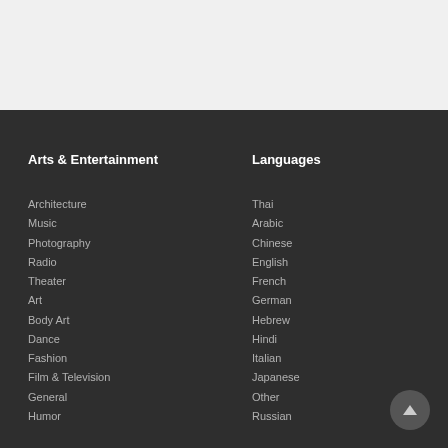Arts & Entertainment
Languages
Architecture
Music
Photography
Radio
Theater
Art
Body Art
Dance
Fashion
Film & Television
General
Humor
Thai
Arabic
Chinese
English
French
German
Hebrew
Hindi
Italian
Japanese
Other
Russian